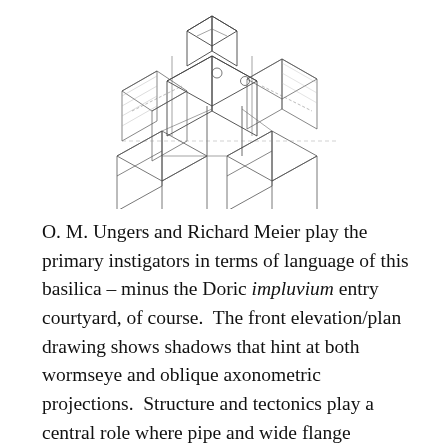[Figure (engineering-diagram): Architectural sketch drawing showing an axonometric or isometric view of a building structure with multiple cubic volumes, columns, walls, and architectural elements rendered in pencil/ink line drawing style.]
O. M. Ungers and Richard Meier play the primary instigators in terms of language of this basilica – minus the Doric impluvium entry courtyard, of course.  The front elevation/plan drawing shows shadows that hint at both wormseye and oblique axonometric projections.  Structure and tectonics play a central role where pipe and wide flange columns slide back and forth next to one another, while small circular side chapels cut